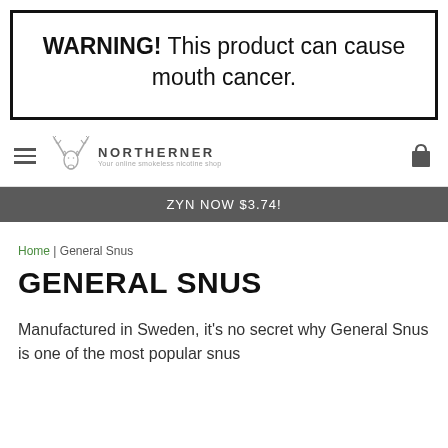WARNING! This product can cause mouth cancer.
[Figure (logo): Northerner logo with deer antler illustration and text 'NORTHERNER - Your online smokeless nicotine shop']
ZYN NOW $3.74!
Home | General Snus
GENERAL SNUS
Manufactured in Sweden, it's no secret why General Snus is one of the most popular snus